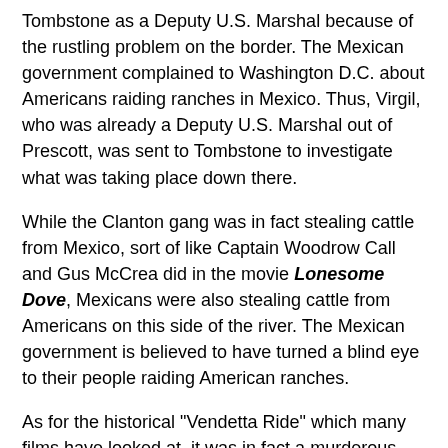Tombstone as a Deputy U.S. Marshal because of the rustling problem on the border. The Mexican government complained to Washington D.C. about Americans raiding ranches in Mexico. Thus, Virgil, who was already a Deputy U.S. Marshal out of Prescott, was sent to Tombstone to investigate what was taking place down there.
While the Clanton gang was in fact stealing cattle from Mexico, sort of like Captain Woodrow Call and Gus McCrea did in the movie Lonesome Dove, Mexicans were also stealing cattle from Americans on this side of the river. The Mexican government is believed to have turned a blind eye to their people raiding American ranches.
As for the historical "Vendetta Ride" which many films have looked at, it was in fact a murderous rampage which was carried out with no legal authority. While the justice system worked fine for the Earps previously, after Morgan was ambushed and those who he suspected of killing Morgan were exonerated, Wyatt decided to take the law into his own hands. Wyatt held the office of Deputy US Marshal at the time to enable the arrest of the cowboys, but warrants were